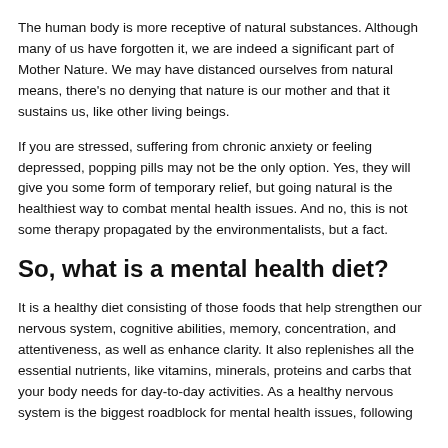The human body is more receptive of natural substances. Although many of us have forgotten it, we are indeed a significant part of Mother Nature. We may have distanced ourselves from natural means, there's no denying that nature is our mother and that it sustains us, like other living beings.
If you are stressed, suffering from chronic anxiety or feeling depressed, popping pills may not be the only option. Yes, they will give you some form of temporary relief, but going natural is the healthiest way to combat mental health issues. And no, this is not some therapy propagated by the environmentalists, but a fact.
So, what is a mental health diet?
It is a healthy diet consisting of those foods that help strengthen our nervous system, cognitive abilities, memory, concentration, and attentiveness, as well as enhance clarity. It also replenishes all the essential nutrients, like vitamins, minerals, proteins and carbs that your body needs for day-to-day activities. As a healthy nervous system is the biggest roadblock for mental health issues, following